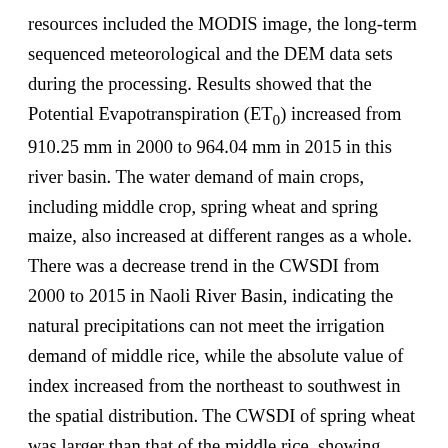resources included the MODIS image, the long-term sequenced meteorological and the DEM data sets during the processing. Results showed that the Potential Evapotranspiration (ET0) increased from 910.25 mm in 2000 to 964.04 mm in 2015 in this river basin. The water demand of main crops, including middle crop, spring wheat and spring maize, also increased at different ranges as a whole. There was a decrease trend in the CWSDI from 2000 to 2015 in Naoli River Basin, indicating the natural precipitations can not meet the irrigation demand of middle rice, while the absolute value of index increased from the northeast to southwest in the spatial distribution. The CWSDI of spring wheat was larger than that of the middle rice, showing similar characteristics in the whole spatial distribution for each year. The CWSDI of spring maize indicated that the spatial characteristics of northwest were slightly lower than that of the southeast, indicating both regions in the condition of mild water shortage in Naoli River Basin. Drought classification was also evaluated using the CWSDI. The middle rice, accounting for the area proportion of 143.46%, was basically in mild drought state in the research basin. Despite at the state of water shortage, spring wheat has not reached the drought standard. The